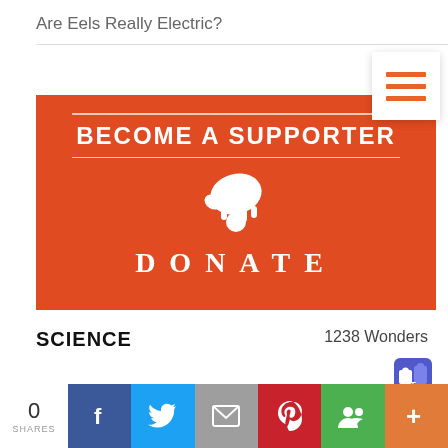Are Eels Really Electric?
[Figure (infographic): Red donation banner with white text 'BECOME A SUPPORTER' and 'DONATE' with a hand dropping a coin icon]
SCIENCE
1238 Wonders
0 SHARES